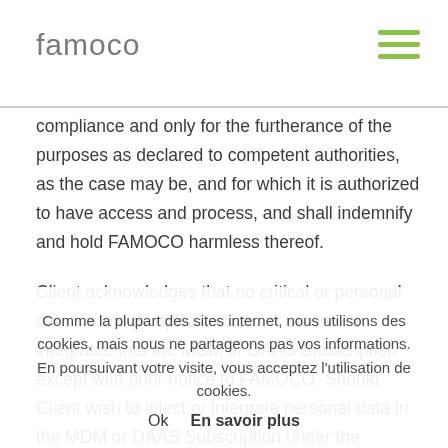famoco
compliance and only for the furtherance of the purposes as declared to competent authorities, as the case may be, and for which it is authorized to have access and process, and shall indemnify and hold FAMOCO harmless thereof.
Client acknowledges that no critical or personal data should be uploaded into or otherwise integrated into the MDM or DAAS Subscription except with prior notice to FAMOCO. Should Client wish to inject or integrate personal data in the MDM or DAAS Subscription under the optional functionality pro... me, device number and e-mail address may collected in the MDM tool ("Data").
In such event, Client shall act as controller and should provide
Comme la plupart des sites internet, nous utilisons des cookies, mais nous ne partageons pas vos informations. En poursuivant votre visite, vous acceptez l'utilisation de cookies. Ok En savoir plus